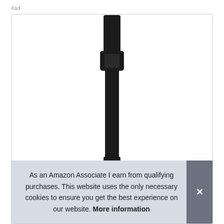#ad
[Figure (photo): A luggage tag with a black leather strap and loop connector, featuring a decorative design with black, beige, and red colors, photographed against a white background inside a bordered product card.]
As an Amazon Associate I earn from qualifying purchases. This website uses the only necessary cookies to ensure you get the best experience on our website. More information